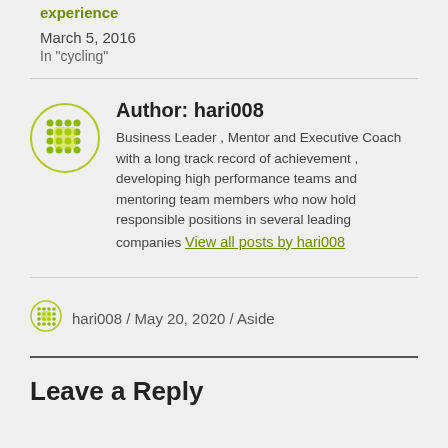experience
March 5, 2016
In "cycling"
[Figure (illustration): Circular avatar icon made of green dots arranged in a grid pattern with rounded border, large size]
Author: hari008
Business Leader , Mentor and Executive Coach with a long track record of achievement , developing high performance teams and mentoring team members who now hold responsible positions in several leading companies View all posts by hari008
[Figure (illustration): Circular avatar icon made of green dots arranged in a grid pattern with rounded border, small size]
hari008 / May 20, 2020 / Aside
Leave a Reply